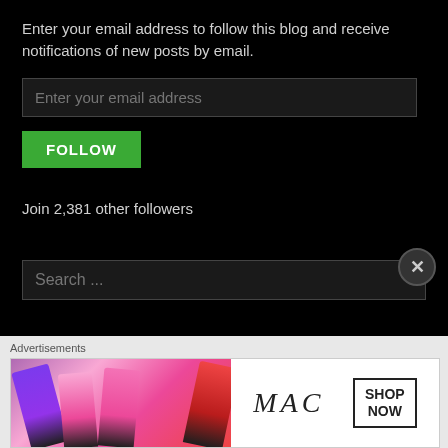Enter your email address to follow this blog and receive notifications of new posts by email.
[Figure (screenshot): Email input field with placeholder text 'Enter your email address']
[Figure (screenshot): Green FOLLOW button]
Join 2,381 other followers
FOODIE BLOGROLL
[Figure (screenshot): Search bar with placeholder 'Search ...' and X close button]
Advertisements
[Figure (illustration): MAC Cosmetics advertisement banner showing colorful lipsticks and MAC logo with SHOP NOW box]